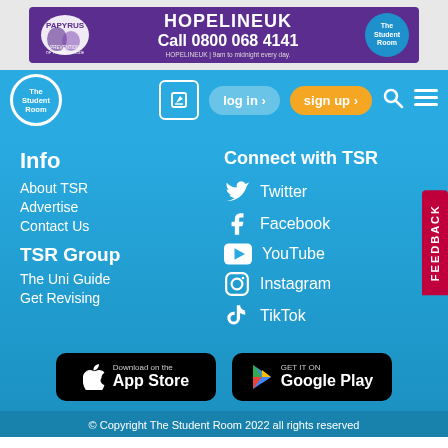[Figure (infographic): HOPELINE UK banner advertisement with PAPYRUS logo on left, purple background, phone number 0800 068 4141, The Student Room logo on right]
[Figure (screenshot): The Student Room navigation bar with logo, edit icon, log in button, sign up button (orange), search and menu icons]
Info
About TSR
Advertise
Contact Us
TSR Group
The Uni Guide
Get Revising
Connect with TSR
Twitter
Facebook
YouTube
Instagram
TikTok
[Figure (logo): Download on the App Store button]
[Figure (logo): Get it on Google Play button]
© Copyright The Student Room 2022 all rights reserved